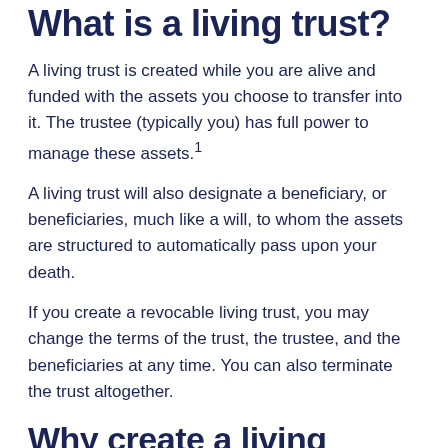What is a living trust?
A living trust is created while you are alive and funded with the assets you choose to transfer into it. The trustee (typically you) has full power to manage these assets.1
A living trust will also designate a beneficiary, or beneficiaries, much like a will, to whom the assets are structured to automatically pass upon your death.
If you create a revocable living trust, you may change the terms of the trust, the trustee, and the beneficiaries at any time. You can also terminate the trust altogether.
Why create a living trust?
The living trust offers a number of potential benefits, including: